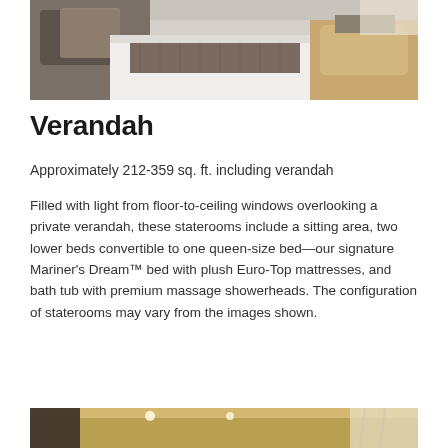[Figure (photo): Interior photo of a cruise ship stateroom showing a bed with white linens and a decorative runner, pillows, and a sitting area with wooden furniture in the background.]
Verandah
Approximately 212-359 sq. ft. including verandah
Filled with light from floor-to-ceiling windows overlooking a private verandah, these staterooms include a sitting area, two lower beds convertible to one queen-size bed—our signature Mariner's Dream™ bed with plush Euro-Top mattresses, and bath tub with premium massage showerheads. The configuration of staterooms may vary from the images shown.
[Figure (photo): Interior photo of a cruise ship stateroom showing a ceiling with warm lighting and curtains near a window.]